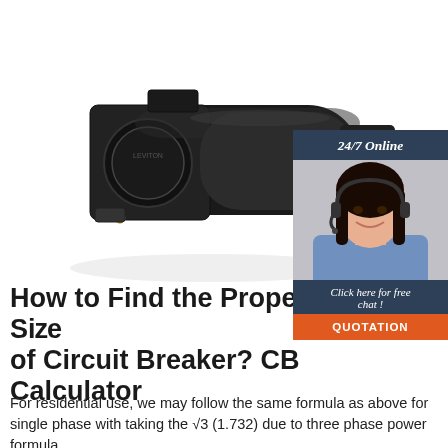[Figure (photo): Black circuit breaker plug/connector device photographed on white background, angled view showing front face and cylindrical body]
[Figure (photo): Customer service representative woman with headset smiling, with dark background, '24/7 Online' header, 'Click here for free chat!' text, and orange QUOTATION button]
How to Find the Proper Size of Circuit Breaker? CB Calculator
For residential use, we may follow the same formula as above for single phase with taking the √3 (1.732) due to three phase power formula.